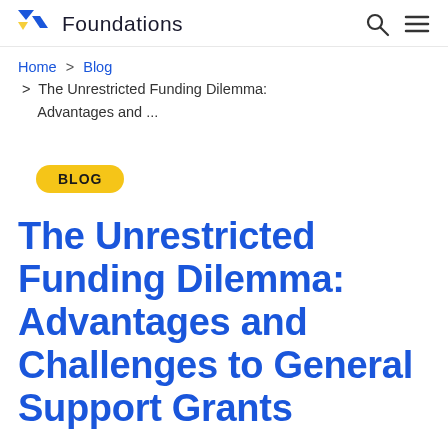Foundations
Home > Blog > The Unrestricted Funding Dilemma: Advantages and ...
BLOG
The Unrestricted Funding Dilemma: Advantages and Challenges to General Support Grants